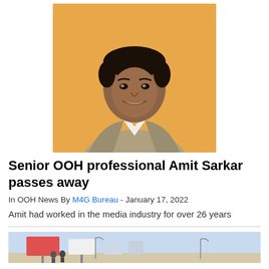[Figure (photo): Headshot of Amit Sarkar, a man in a grey blazer and white shirt, smiling, against an orange-yellow background]
Senior OOH professional Amit Sarkar passes away
In OOH News By M4G Bureau - January 17, 2022
Amit had worked in the media industry for over 26 years
[Figure (photo): Partially visible outdoor advertising/billboard scene at the bottom of the page]